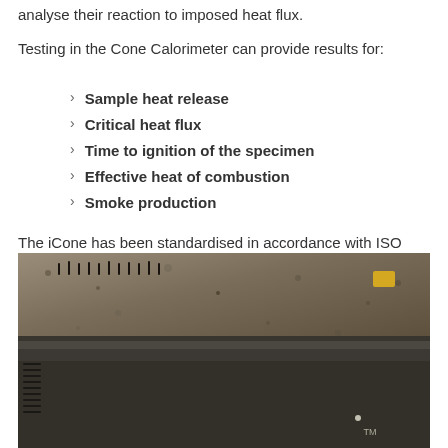analyse their reaction to imposed heat flux.
Testing in the Cone Calorimeter can provide results for:
Sample heat release
Critical heat flux
Time to ignition of the specimen
Effective heat of combustion
Smoke production
The iCone has been standardised in accordance with ISO 5660, and can run standard tests as per AS/NZS 3837.
[Figure (photo): Close-up photograph of a Cone Calorimeter device showing a textured stone/granite surface on top of a dark instrument housing with a TM label visible at the bottom right.]